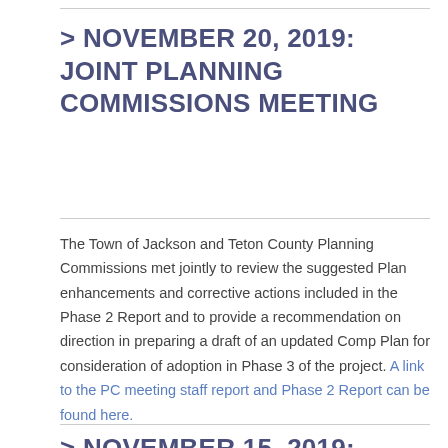> NOVEMBER 20, 2019: JOINT PLANNING COMMISSIONS MEETING
The Town of Jackson and Teton County Planning Commissions met jointly to review the suggested Plan enhancements and corrective actions included in the Phase 2 Report and to provide a recommendation on direction in preparing a draft of an updated Comp Plan for consideration of adoption in Phase 3 of the project. A link to the PC meeting staff report and Phase 2 Report can be found here.
> NOVEMBER 15, 2019: PHASE 2